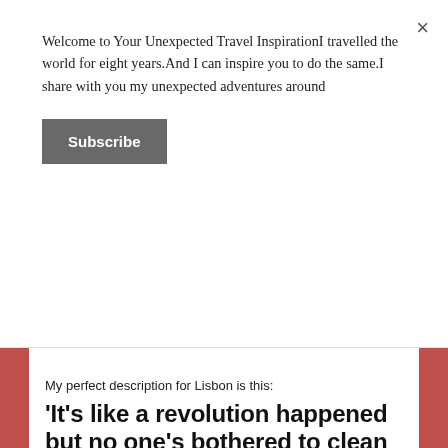Welcome to Your Unexpected Travel InspirationI travelled the world for eight years.And I can inspire you to do the same.I share with you my unexpected adventures around
Subscribe
My perfect description for Lisbon is this:
'It's like a revolution happened but no one's bothered to clean it up.'
Weakly, Lisbon's defenders would claim that the country is in the throes of an economic recession. Well, so are Greece, Spain and Ireland. But they still do fantastically well for tourism.